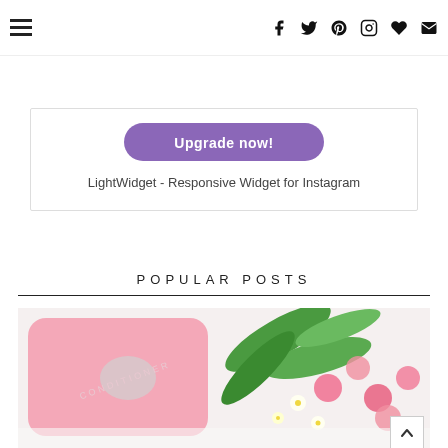Navigation header with hamburger menu and social icons (facebook, twitter, pinterest, instagram, heart, email)
[Figure (screenshot): Partially visible purple 'Upgrade now' button inside a widget box]
LightWidget - Responsive Widget for Instagram
POPULAR POSTS
[Figure (photo): Pink conditioner bottle lying next to pink and white flowers and green tropical leaves on a white background]